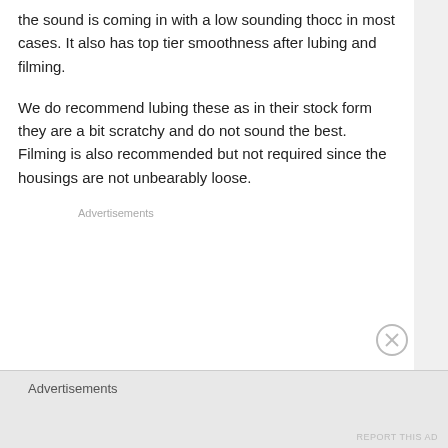the sound is coming in with a low sounding thocc in most cases. It also has top tier smoothness after lubing and filming.
We do recommend lubing these as in their stock form they are a bit scratchy and do not sound the best. Filming is also recommended but not required since the housings are not unbearably loose.
Advertisements
Advertisements
REPORT THIS AD